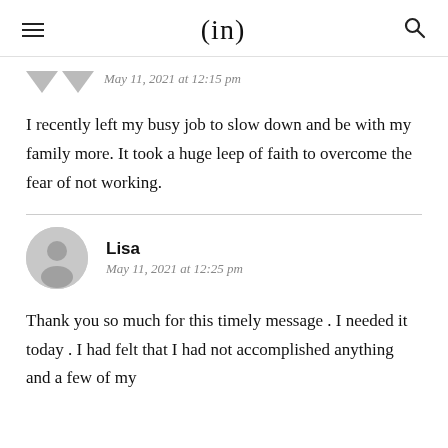(in)
May 11, 2021 at 12:15 pm
I recently left my busy job to slow down and be with my family more. It took a huge leep of faith to overcome the fear of not working.
Lisa
May 11, 2021 at 12:25 pm
Thank you so much for this timely message . I needed it today . I had felt that I had not accomplished anything and a few of my